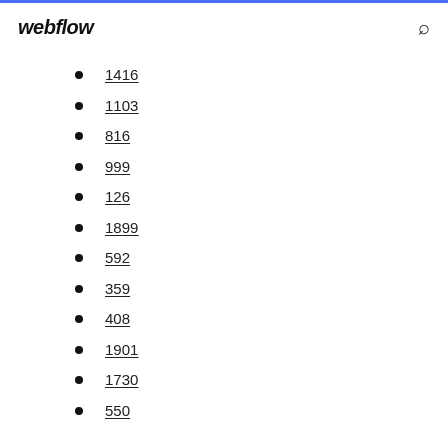webflow
1416
1103
816
999
126
1899
592
359
408
1901
1730
550